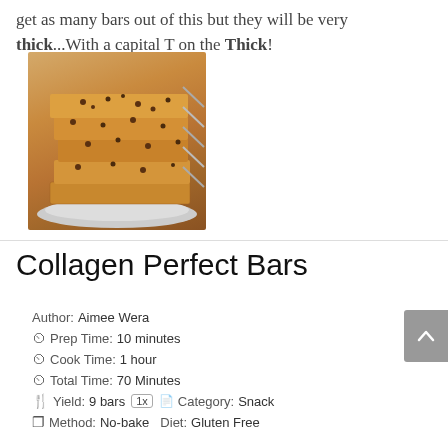get as many bars out of this but they will be very thick...With a capital T on the Thick!
[Figure (photo): Stack of chocolate chip collagen bars on a white plate]
Collagen Perfect Bars
Author: Aimee Wera
Prep Time: 10 minutes
Cook Time: 1 hour
Total Time: 70 Minutes
Yield: 9 bars 1x   Category: Snack
Method: No-bake  Diet: Gluten Free